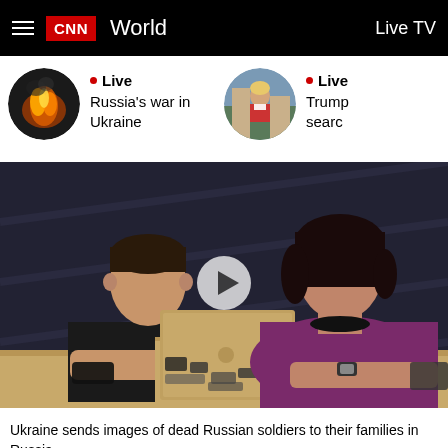CNN World  Live TV
Live
Russia's war in Ukraine
Live
Trump search
[Figure (screenshot): Video still showing two people at a desk with a laptop. A man on the left and a woman on the right. A play button overlay is visible in the center.]
Ukraine sends images of dead Russian soldiers to their families in Russia. Hear the responses they received back  03:54